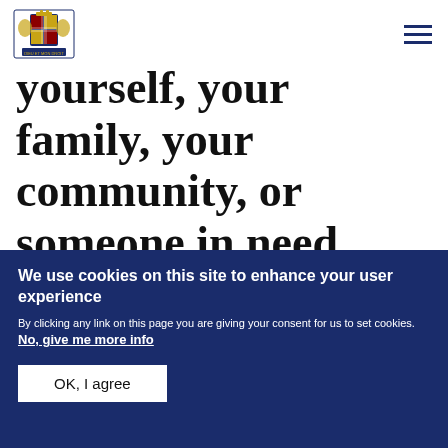[Figure (logo): UK Government Royal Coat of Arms logo]
yourself, your family, your community, or someone in need.
”
We use cookies on this site to enhance your user experience
By clicking any link on this page you are giving your consent for us to set cookies. No, give me more info
OK, I agree